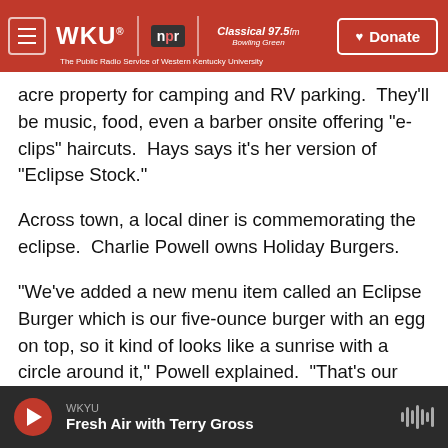WKU NPR | Classical 97.5fm Bowling Green | The Public Radio Service of Western Kentucky University | Donate
acre property for camping and RV parking.  They'll be music, food, even a barber onsite offering “e-clips” haircuts.  Hays says it’s her version of “Eclipse Stock.”
Across town, a local diner is commemorating the eclipse.  Charlie Powell owns Holiday Burgers.
“We’ve added a new menu item called an Eclipse Burger which is our five-ounce burger with an egg on top, so it kind of looks like a sunrise with a circle around it,” Powell explained.  “That’s our contribution to the eclipse.”
WKYU | Fresh Air with Terry Gross